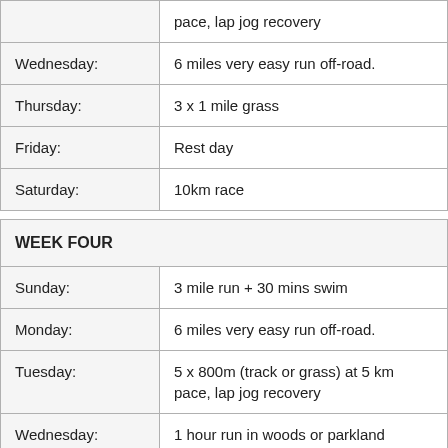|  | pace, lap jog recovery |
| Wednesday: | 6 miles very easy run off-road. |
| Thursday: | 3 x 1 mile grass |
| Friday: | Rest day |
| Saturday: | 10km race |
| WEEK FOUR |  |
| --- | --- |
| Sunday: | 3 mile run + 30 mins swim |
| Monday: | 6 miles very easy run off-road. |
| Tuesday: | 5 x 800m (track or grass) at 5 km pace, lap jog recovery |
| Wednesday: | 1 hour run in woods or parkland |
| Thursday: | 3 x 1 mile grass |
| Friday: | rest day |